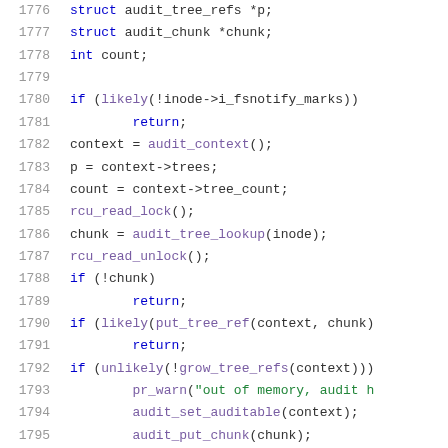Source code listing lines 1776-1796 showing C code with struct declarations, if statements, function calls including likely(), audit_context(), rcu_read_lock(), audit_tree_lookup(), put_tree_ref(), grow_tree_refs(), pr_warn(), audit_set_auditable(), audit_put_chunk(), unroll_tree_refs()